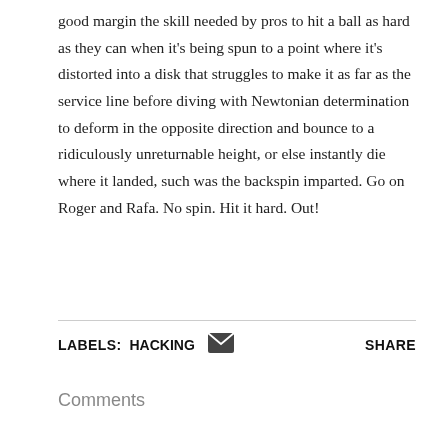good margin the skill needed by pros to hit a ball as hard as they can when it's being spun to a point where it's distorted into a disk that struggles to make it as far as the service line before diving with Newtonian determination to deform in the opposite direction and bounce to a ridiculously unreturnable height, or else instantly die where it landed, such was the backspin imparted. Go on Roger and Rafa. No spin. Hit it hard. Out!
LABELS: HACKING   SHARE
Comments